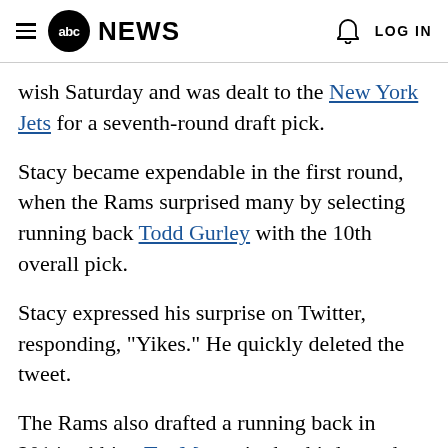abc NEWS  LOG IN
wish Saturday and was dealt to the New York Jets for a seventh-round draft pick.
Stacy became expendable in the first round, when the Rams surprised many by selecting running back Todd Gurley with the 10th overall pick.
Stacy expressed his surprise on Twitter, responding, "Yikes." He quickly deleted the tweet.
The Rams also drafted a running back in 2014, tabbing Tre Mason in the third round. Evidently, they didn't see Stacy as the long-